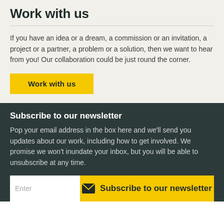Work with us
If you have an idea or a dream, a commission or an invitation, a project or a partner, a problem or a solution, then we want to hear from you! Our collaboration could be just round the corner.
Work with us
Subscribe to our newsletter
Pop your email address in the box here and we'll send you updates about our work, including how to get involved. We promise we won't inundate your inbox, but you will be able to unsubscribe at any time.
Subscribe to our newsletter